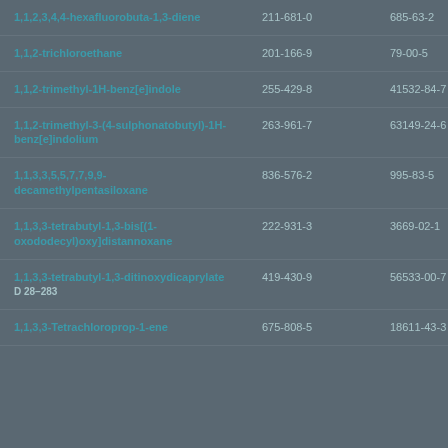| Name | EC Number | CAS Number |
| --- | --- | --- |
| 1,1,2,3,4,4-hexafluorobuta-1,3-diene | 211-681-0 | 685-63-2 |
| 1,1,2-trichloroethane | 201-166-9 | 79-00-5 |
| 1,1,2-trimethyl-1H-benz[e]indole | 255-429-8 | 41532-84-7 |
| 1,1,2-trimethyl-3-(4-sulphonatobutyl)-1H-benz[e]indolium | 263-961-7 | 63149-24-6 |
| 1,1,3,3,5,5,7,7,9,9-decamethylpentasiloxane | 836-576-2 | 995-83-5 |
| 1,1,3,3-tetrabutyl-1,3-bis[(1-oxododecyl)oxy]distannoxane | 222-931-3 | 3669-02-1 |
| 1,1,3,3-tetrabutyl-1,3-ditinoxydicaprylate | 419-430-9 | 56533-00-7 |
| 1,1,3,3-Tetrachloroprop-1-ene | 675-808-5 | 18611-43-3 |